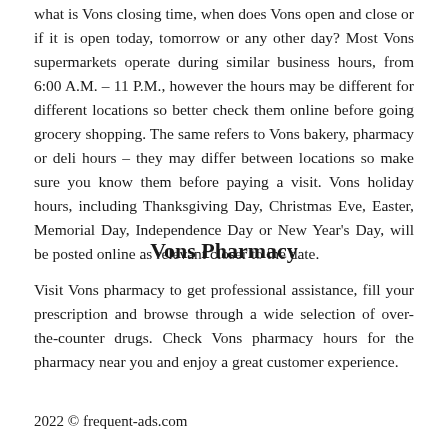what is Vons closing time, when does Vons open and close or if it is open today, tomorrow or any other day? Most Vons supermarkets operate during similar business hours, from 6:00 A.M. – 11 P.M., however the hours may be different for different locations so better check them online before going grocery shopping. The same refers to Vons bakery, pharmacy or deli hours – they may differ between locations so make sure you know them before paying a visit. Vons holiday hours, including Thanksgiving Day, Christmas Eve, Easter, Memorial Day, Independence Day or New Year's Day, will be posted online as relevant closer to the date.
Vons Pharmacy
Visit Vons pharmacy to get professional assistance, fill your prescription and browse through a wide selection of over-the-counter drugs. Check Vons pharmacy hours for the pharmacy near you and enjoy a great customer experience.
2022 © frequent-ads.com